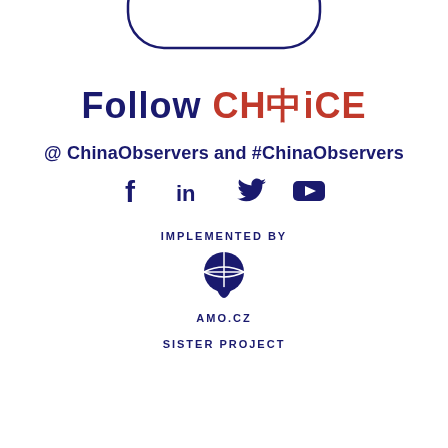[Figure (illustration): Rounded rectangle outline shape at top of page (partial, cropped at top edge)]
Follow CHOICE
@ ChinaObservers and #ChinaObservers
[Figure (illustration): Social media icons: Facebook (f), LinkedIn (in), Twitter bird, YouTube play button — all in dark navy blue]
IMPLEMENTED BY
[Figure (logo): AMO.cz logo — globe/basketball shape with a teardrop/leaf below, in dark navy blue]
AMO.CZ
SISTER PROJECT